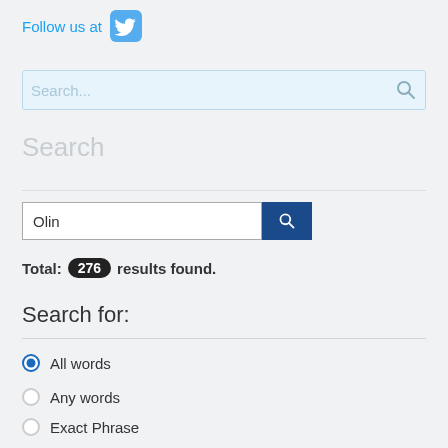Follow us at [Twitter icon]
[Figure (screenshot): Search bar with placeholder text 'Search...' and magnifying glass icon on light blue background]
Search
[Figure (screenshot): Search input field with text 'Olin' and a dark blue search button with magnifying glass icon]
Total: 276 results found.
Search for:
All words (selected)
Any words
Exact Phrase